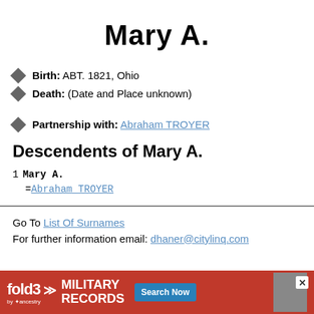Mary A.
Birth: ABT. 1821, Ohio
Death: (Date and Place unknown)
Partnership with: Abraham TROYER
Descendents of Mary A.
1  Mary A.
   =Abraham TROYER
Go To List Of Surnames
For further information email: dhaner@citylinq.com
[Figure (other): fold3 by Ancestry Military Records advertisement banner with Search Now button]